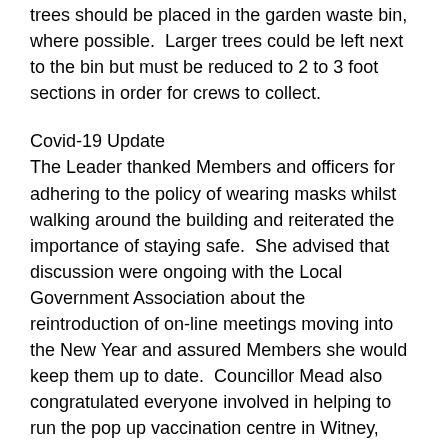trees should be placed in the garden waste bin, where possible.  Larger trees could be left next to the bin but must be reduced to 2 to 3 foot sections in order for crews to collect.
Covid-19 Update
The Leader thanked Members and officers for adhering to the policy of wearing masks whilst walking around the building and reiterated the importance of staying safe.  She advised that discussion were ongoing with the Local Government Association about the reintroduction of on-line meetings moving into the New Year and assured Members she would keep them up to date.  Councillor Mead also congratulated everyone involved in helping to run the pop up vaccination centre in Witney, which had delivered over four thousand injections.  She also advised that the smaller venues were working well and there was a possibility of these returning in the District.  Again, the Leader reiterated that she would update Members when she knew more.
Finally, Councillor Mead took the opportunity to wish that everyone had the best Christmas they could have and